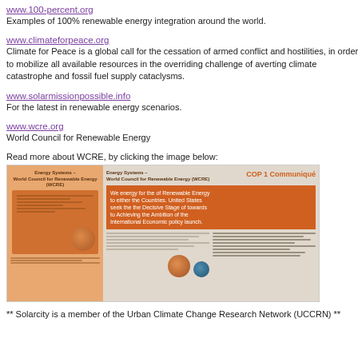www.100-percent.org
Examples of 100% renewable energy integration around the world.
www.climateforpeace.org
Climate for Peace is a global call for the cessation of armed conflict and hostilities, in order to mobilize all available resources in the overriding challenge of averting climate catastrophe and fossil fuel supply cataclysms.
www.solarmissionpossible.info
For the latest in renewable energy scenarios.
www.wcre.org
World Council for Renewable Energy
Read more about WCRE, by clicking the image below:
[Figure (photo): WCRE document collage showing a world map infographic and COP 1 Communique document.]
** Solarcity is a member of the Urban Climate Change Research Network (UCCRN) **
[Figure (photo): Climate Design book cover with blue and green abstract design]
Climate Design book/publication cover images
Currently plans comm deter indep nucle infor here
Urban Foss
This prese both